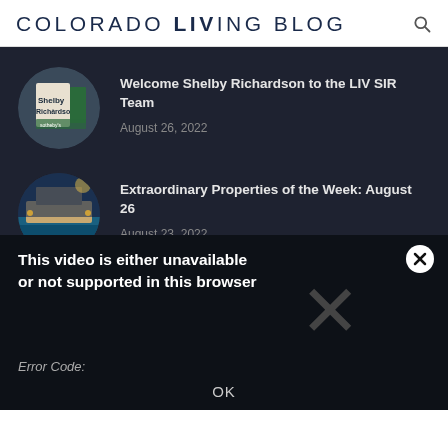COLORADO LIVING BLOG
Welcome Shelby Richardson to the LIV SIR Team — August 26, 2022
Extraordinary Properties of the Week: August 26 — August 23, 2022
This video is either unavailable or not supported in this browser
Error Code:
OK